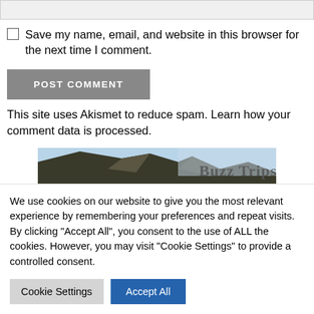Save my name, email, and website in this browser for the next time I comment.
POST COMMENT
This site uses Akismet to reduce spam. Learn how your comment data is processed.
[Figure (photo): Buzz Trips banner image showing mountainous landscape with sky and the text 'Buzz Trips']
We use cookies on our website to give you the most relevant experience by remembering your preferences and repeat visits. By clicking "Accept All", you consent to the use of ALL the cookies. However, you may visit "Cookie Settings" to provide a controlled consent.
Cookie Settings
Accept All